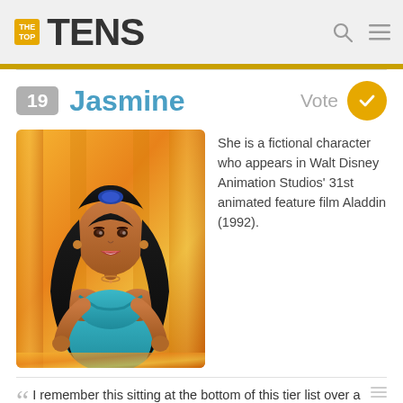THE TOP TENS
19 Jasmine
[Figure (illustration): Princess Jasmine animated character from Aladdin, wearing teal outfit with long black hair, orange/golden palace background]
She is a fictional character who appears in Walt Disney Animation Studios' 31st animated feature film Aladdin (1992).
I remember this sitting at the bottom of this tier list over a year ago. Now it's in 15th and climbing fast. Good job idiots.
What the heck is she doing here with a fancy disney